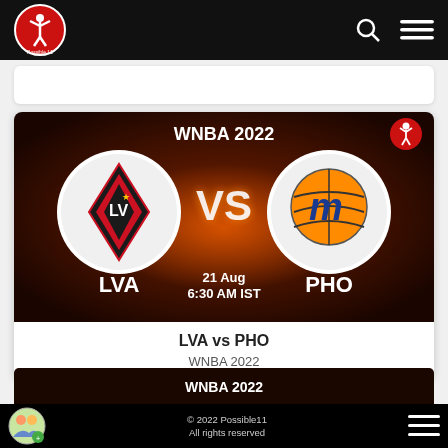Possible11 - navigation bar with logo, search and menu icons
[Figure (screenshot): WNBA 2022 match card image showing LVA vs PHO team logos with VS text, date 21 Aug, time 6:30 AM IST, dark red gradient background]
LVA vs PHO
WNBA 2022
[Figure (screenshot): Partial WNBA 2022 card at bottom of page]
© 2022 Possible11
All rights reserved